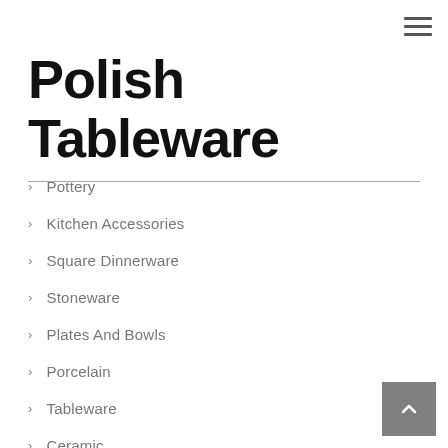Polish Tableware
Pottery
Kitchen Accessories
Square Dinnerware
Stoneware
Plates And Bowls
Porcelain
Tableware
Ceramic